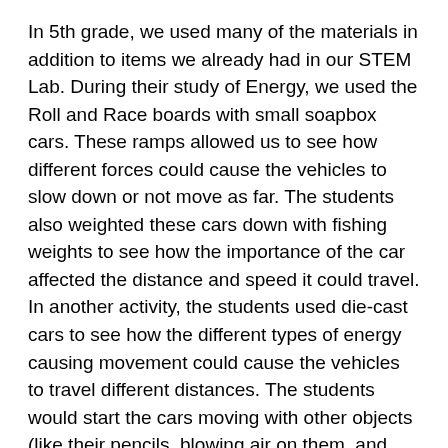In 5th grade, we used many of the materials in addition to items we already had in our STEM Lab. During their study of Energy, we used the Roll and Race boards with small soapbox cars. These ramps allowed us to see how different forces could cause the vehicles to slow down or not move as far. The students also weighted these cars down with fishing weights to see how the importance of the car affected the distance and speed it could travel. In another activity, the students used die-cast cars to see how the different types of energy causing movement could cause the vehicles to travel different distances. The students would start the cars moving with other objects (like their pencils, blowing air on them, and pushing them) to see how the different types of force changed the distance the cars traveled.
While exploring Energy Science, the students used the finger rockets, pump rockets, and stomp rockets to see how objects travel. The students worked through different